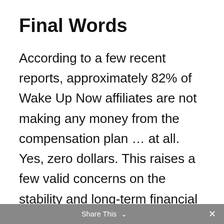Final Words
According to a few recent reports, approximately 82% of Wake Up Now affiliates are not making any money from the compensation plan … at all. Yes, zero dollars. This raises a few valid concerns on the stability and long-term financial success on the company – which, to be honest, isn't looking really good.
Share This  ×